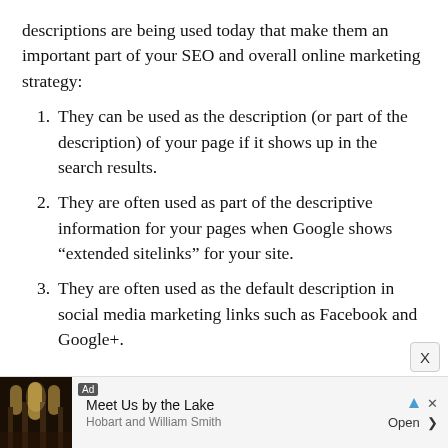descriptions are being used today that make them an important part of your SEO and overall online marketing strategy:
They can be used as the description (or part of the description) of your page if it shows up in the search results.
They are often used as part of the descriptive information for your pages when Google shows “extended sitelinks” for your site.
They are often used as the default description in social media marketing links such as Facebook and Google+.
[Figure (other): Advertisement banner: 'Meet Us by the Lake' from Hobart and William Smith, with a photo of a large cathedral interior.]